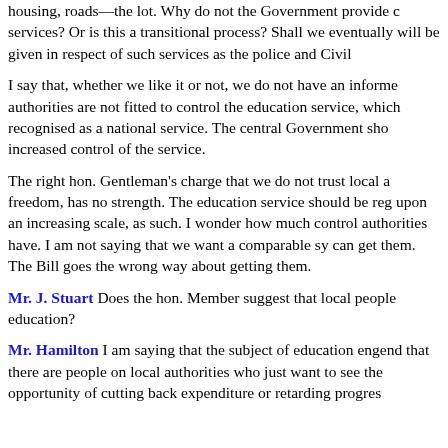housing, roads—the lot. Why do not the Government provide c services? Or is this a transitional process? Shall we eventually will be given in respect of such services as the police and Civil
I say that, whether we like it or not, we do not have an informe authorities are not fitted to control the education service, which recognised as a national service. The central Government sho increased control of the service.
The right hon. Gentleman's charge that we do not trust local a freedom, has no strength. The education service should be reg upon an increasing scale, as such. I wonder how much control authorities have. I am not saying that we want a comparable sy can get them. The Bill goes the wrong way about getting them.
Mr. J. Stuart Does the hon. Member suggest that local people education?
Mr. Hamilton I am saying that the subject of education engend that there are people on local authorities who just want to see the opportunity of cutting back expenditure or retarding progres